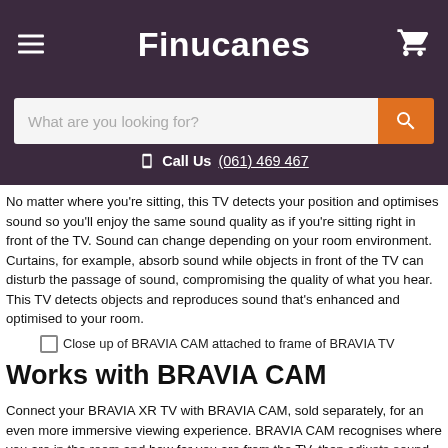Finucanes
What are you looking for?
Call Us (061) 469 467
No matter where you're sitting, this TV detects your position and optimises sound so you'll enjoy the same sound quality as if you're sitting right in front of the TV. Sound can change depending on your room environment. Curtains, for example, absorb sound while objects in front of the TV can disturb the passage of sound, compromising the quality of what you hear. This TV detects objects and reproduces sound that's enhanced and optimised to your room.
[Figure (photo): Close up of BRAVIA CAM attached to frame of BRAVIA TV]
Works with BRAVIA CAM
Connect your BRAVIA XR TV with BRAVIA CAM, sold separately, for an even more immersive viewing experience. BRAVIA CAM recognises where you are in the room and how far you are from the TV, then adjusts sound and picture settings so they're just right. You can also enjoy an array of fun new